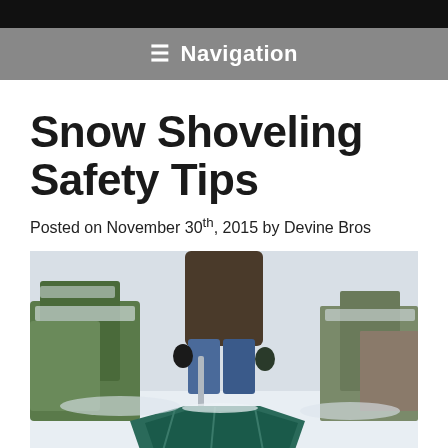☰ Navigation
Snow Shoveling Safety Tips
Posted on November 30th, 2015 by Devine Bros
[Figure (photo): Person shoveling snow outdoors with a large green snow shovel, surrounded by snow-covered trees and a building in the background.]